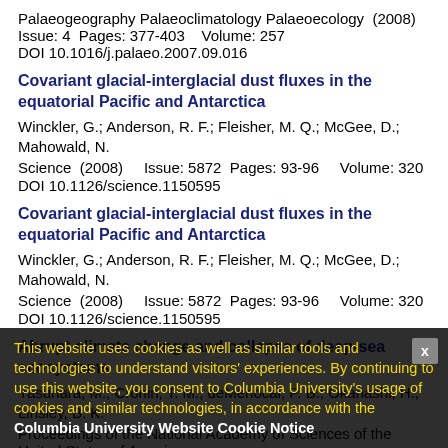Palaeogeography Palaeoclimatology Palaeoecology (2008) Issue: 4 Pages: 377-403 Volume: 257 DOI 10.1016/j.palaeo.2007.09.016
Covariant glacial-interglacial dust fluxes in the equatorial Pacific and Antarctica
Winckler, G.; Anderson, R. F.; Fleisher, M. Q.; McGee, D.; Mahowald, N.
Science (2008) Issue: 5872 Pages: 93-96 Volume: 320 DOI 10.1126/science.1150595
Covariant glacial-interglacial dust fluxes in the equatorial Pacific and Antarctica
Winckler, G.; Anderson, R. F.; Fleisher, M. Q.; McGee, D.; Mahowald, N.
Science (2008) Issue: 5872 Pages: 93-96 Volume: 320 DOI 10.1126/science.1150595
Abrupt climate change and collapse of deep-sea ecosystems
Yasuhara, M.; Cronin, T. M.; deMenocal, P. B.; Okahashi, H.; Linsley, B. K.
Proceedings of the National Academy of Sciences of the United States of America
This website uses cookies as well as similar tools and technologies to understand visitors' experiences. By continuing to use this website, you consent to Columbia University's usage of cookies and similar technologies, in accordance with the Columbia University Website Cookie Notice